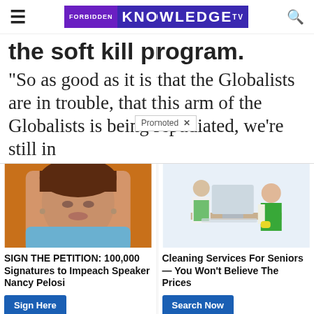FORBIDDEN KNOWLEDGE TV
the soft kill program.
“So as good as it is that the Globalists are in trouble, that this arm of the Globalists is being repudiated, we’re still in…
[Figure (screenshot): Promoted advertisement block with two ads: 1) Photo of Nancy Pelosi with headline 'SIGN THE PETITION: 100,000 Signatures to Impeach Speaker Nancy Pelosi' and 'Sign Here' button. 2) Photo of cleaning service workers with headline 'Cleaning Services For Seniors — You Won’t Believe The Prices' and 'Search Now' button.]